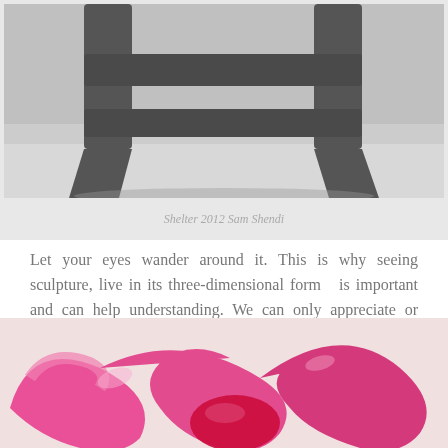[Figure (photo): Black and white photograph showing the legs and lower structure of a wooden stool or chair, cropped to show only the bottom portion.]
Shelter 2012 Sam Shendi
Let your eyes wander around it. This is why seeing sculpture, live in its three-dimensional form is important and can help understanding. We can only appreciate or connect so much from an image.
[Figure (photo): Color photograph of a glossy pink and red sculptural form with intertwining curved shapes, resembling an abstract knot or twisted ribbon sculpture.]